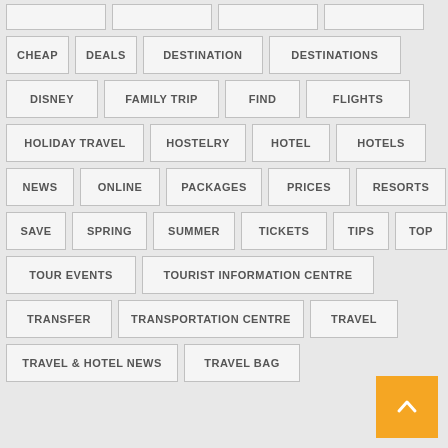CHEAP
DEALS
DESTINATION
DESTINATIONS
DISNEY
FAMILY TRIP
FIND
FLIGHTS
HOLIDAY TRAVEL
HOSTELRY
HOTEL
HOTELS
NEWS
ONLINE
PACKAGES
PRICES
RESORTS
SAVE
SPRING
SUMMER
TICKETS
TIPS
TOP
TOUR EVENTS
TOURIST INFORMATION CENTRE
TRANSFER
TRANSPORTATION CENTRE
TRAVEL
TRAVEL & HOTEL NEWS
TRAVEL BAG